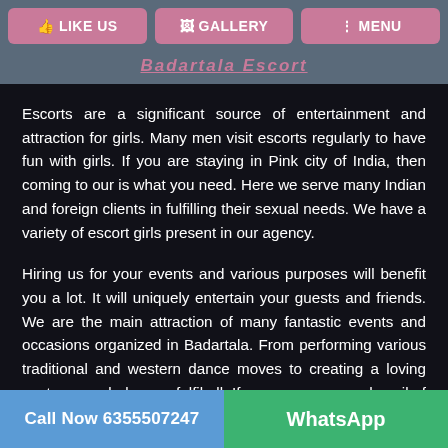LIKE US | GALLERY | MENU
Badartala Escort
Escorts are a significant source of entertainment and attraction for girls. Many men visit escorts regularly to have fun with girls. If you are staying in Pink city of India, then coming to our is what you need. Here we serve many Indian and foreign clients in fulfilling their sexual needs. We have a variety of escort girls present in our agency.
Hiring us for your events and various purposes will benefit you a lot. It will uniquely entertain your guests and friends. We are the main attraction of many fantastic events and occasions organized in Badartala. From performing various traditional and western dance moves to creating a loving posture, our babe can fulfil all. If you are young and avail of sexual service for the first time, our girls can be the perfect mentor. Every middle-class man to high-class
Call Now 6355507247 | WhatsApp